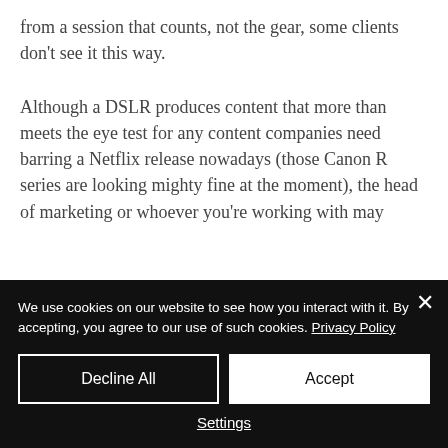from a session that counts, not the gear, some clients don't see it this way.
Although a DSLR produces content that more than meets the eye test for any content companies need barring a Netflix release nowadays (those Canon R series are looking mighty fine at the moment), the head of marketing or whoever you're working with may
We use cookies on our website to see how you interact with it. By accepting, you agree to our use of such cookies. Privacy Policy
Decline All
Accept
Settings